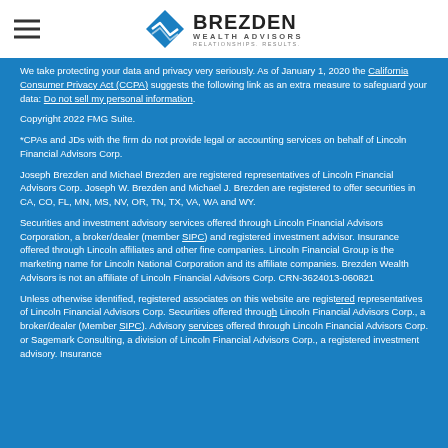[Figure (logo): Brezden Wealth Advisors logo with blue diamond shape and hamburger menu icon on white header bar]
We take protecting your data and privacy very seriously. As of January 1, 2020 the California Consumer Privacy Act (CCPA) suggests the following link as an extra measure to safeguard your data: Do not sell my personal information.
Copyright 2022 FMG Suite.
*CPAs and JDs with the firm do not provide legal or accounting services on behalf of Lincoln Financial Advisors Corp.
Joseph Brezden and Michael Brezden are registered representatives of Lincoln Financial Advisors Corp. Joseph W. Brezden and Michael J. Brezden are registered to offer securities in CA, CO, FL, MN, MS, NV, OR, TN, TX, VA, WA and WY.
Securities and investment advisory services offered through Lincoln Financial Advisors Corporation, a broker/dealer (member SIPC) and registered investment advisor. Insurance offered through Lincoln affiliates and other fine companies. Lincoln Financial Group is the marketing name for Lincoln National Corporation and its affiliate companies. Brezden Wealth Advisors is not an affiliate of Lincoln Financial Advisors Corp. CRN-3624013-060821
Unless otherwise identified, registered associates on this website are registered representatives of Lincoln Financial Advisors Corp. Securities offered through Lincoln Financial Advisors Corp., a broker/dealer (Member SIPC). Advisory services offered through Lincoln Financial Advisors Corp. or Sagemark Consulting, a division of Lincoln Financial Advisors Corp., a registered investment advisory. Insurance